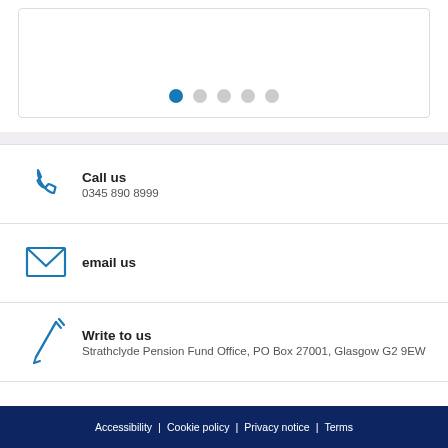[Figure (other): Carousel pagination dots: one filled blue dot followed by four grey dots]
Call us
0345 890 8999
email us
Write to us
Strathclyde Pension Fund Office, PO Box 27001, Glasgow G2 9EW
Accessibility | Cookie policy | Privacy notice | Terms